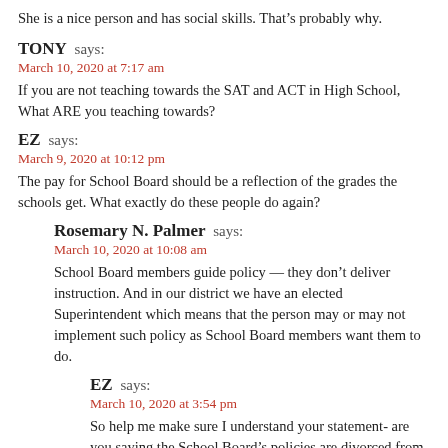She is a nice person and has social skills. That’s probably why.
TONY says:
March 10, 2020 at 7:17 am
If you are not teaching towards the SAT and ACT in High School, What ARE you teaching towards?
EZ says:
March 9, 2020 at 10:12 pm
The pay for School Board should be a reflection of the grades the schools get. What exactly do these people do again?
Rosemary N. Palmer says:
March 10, 2020 at 10:08 am
School Board members guide policy — they don’t deliver instruction. And in our district we have an elected Superintendent which means that the person may or may not implement such policy as School Board members want them to do.
EZ says:
March 10, 2020 at 3:54 pm
So help me make sure I understand your statement- are you saying the School Board’s policies are divorced from the performance of the schools? Is the principal not accountable to the School Board? Is the School Board ultimately responsible for the Schools? (Thus the name SCHOOL BOARD).